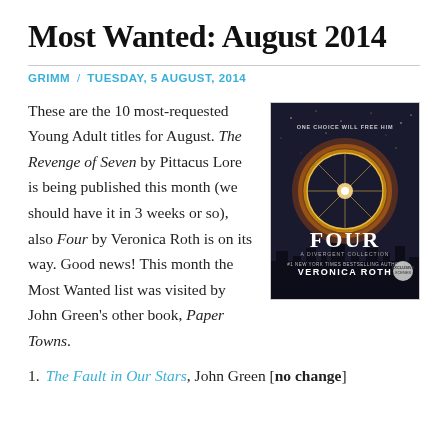Most Wanted: August 2014
GRIMM / TUESDAY, 5 AUGUST, 2014
These are the 10 most-requested Young Adult titles for August. The Revenge of Seven by Pittacus Lore is being published this month (we should have it in 3 weeks or so), also Four by Veronica Roth is on its way. Good news! This month the Most Wanted list was visited by John Green's other book, Paper Towns.
[Figure (photo): Book cover of 'Four: A Divergent Collection' by Veronica Roth, showing a glowing circular Ferris wheel against a dark sky with the text 'ONE CHOICE WILL FREE HIM' at the top and 'VERONICA ROTH' at the bottom.]
1. The Fault in Our Stars, John Green [no change]